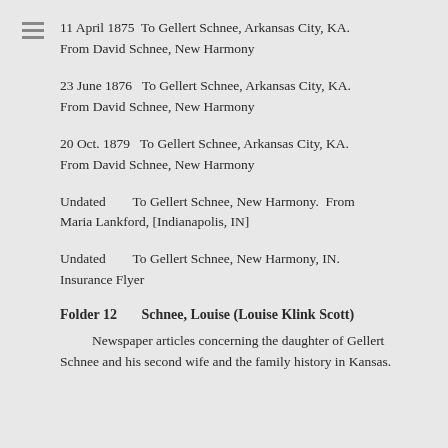11 April 1875  To Gellert Schnee, Arkansas City, KA.
From David Schnee, New Harmony
23 June 1876   To Gellert Schnee, Arkansas City, KA.
From David Schnee, New Harmony
20 Oct. 1879   To Gellert Schnee, Arkansas City, KA.
From David Schnee, New Harmony
Undated        To Gellert Schnee, New Harmony.  From Maria Lankford, [Indianapolis, IN]
Undated        To Gellert Schnee, New Harmony, IN. Insurance Flyer
Folder 12     Schnee, Louise (Louise Klink Scott)
Newspaper articles concerning the daughter of Gellert Schnee and his second wife and the family history in Kansas.